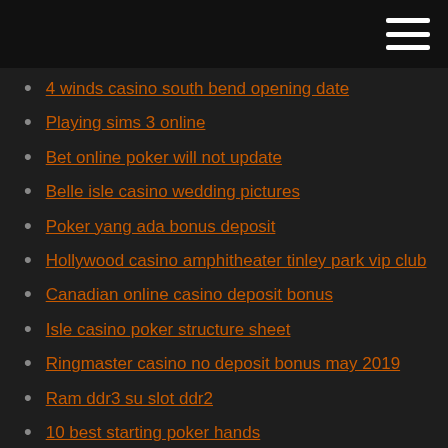4 winds casino south bend opening date
Playing sims 3 online
Bet online poker will not update
Belle isle casino wedding pictures
Poker yang ada bonus deposit
Hollywood casino amphitheater tinley park vip club
Canadian online casino deposit bonus
Isle casino poker structure sheet
Ringmaster casino no deposit bonus may 2019
Ram ddr3 su slot ddr2
10 best starting poker hands
No deposit netent casino uk
Holland casino try out waar te koop
Hot spot casino & lounge summersville wv